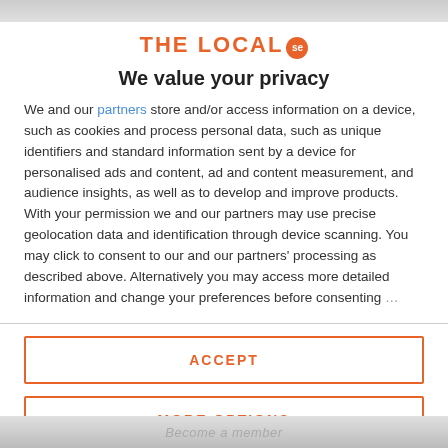[Figure (logo): THE LOCAL se logo in orange text with 'se' in an orange circle badge]
We value your privacy
We and our partners store and/or access information on a device, such as cookies and process personal data, such as unique identifiers and standard information sent by a device for personalised ads and content, ad and content measurement, and audience insights, as well as to develop and improve products. With your permission we and our partners may use precise geolocation data and identification through device scanning. You may click to consent to our and our partners' processing as described above. Alternatively you may access more detailed information and change your preferences before consenting
ACCEPT
MORE OPTIONS
Become a member